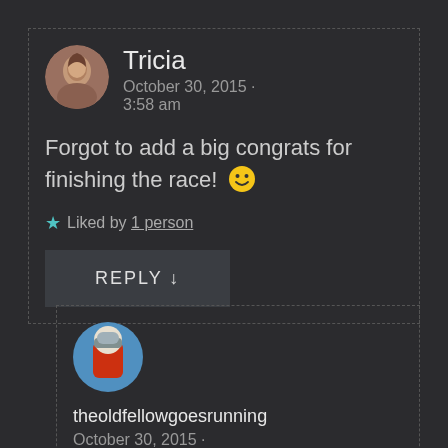Tricia
October 30, 2015 · 3:58 am
Forgot to add a big congrats for finishing the race! 🙂
★ Liked by 1 person
REPLY ↓
[Figure (photo): Avatar photo of theoldfellowgoesrunning, person in winter running gear]
theoldfellowgoesrunning
October 30, 2015 ·